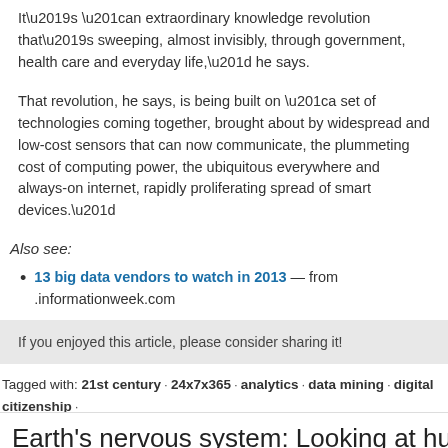It’s “an extraordinary knowledge revolution that’s sweeping, almost invisibly, through government, health care and everyday life,” he says.
That revolution, he says, is being built on “a set of technologies coming together, brought about by widespread and low-cost sensors that can now communicate, the plummeting cost of computing power, the ubiquitous everywhere and always-on internet, rapidly proliferating spread of smart devices.”
Also see:
13 big data vendors to watch in 2013 — from .informationweek.com
cetas.net/blog
If you enjoyed this article, please consider sharing it!
Tagged with: 21st century · 24x7x365 · analytics · data mining · digital citizenship · machine-to-machine communications · society
Earth’s nervous system: Looking at hu